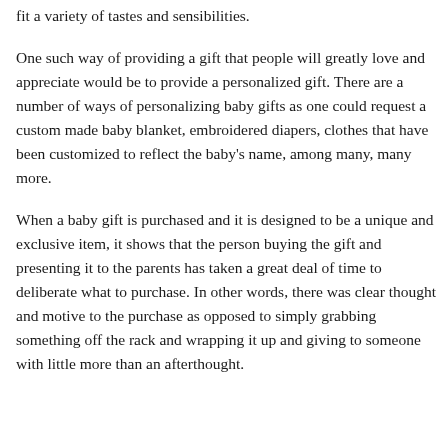fit a variety of tastes and sensibilities.
One such way of providing a gift that people will greatly love and appreciate would be to provide a personalized gift. There are a number of ways of personalizing baby gifts as one could request a custom made baby blanket, embroidered diapers, clothes that have been customized to reflect the baby's name, among many, many more.
When a baby gift is purchased and it is designed to be a unique and exclusive item, it shows that the person buying the gift and presenting it to the parents has taken a great deal of time to deliberate what to purchase. In other words, there was clear thought and motive to the purchase as opposed to simply grabbing something off the rack and wrapping it up and giving to someone with little more than an afterthought.